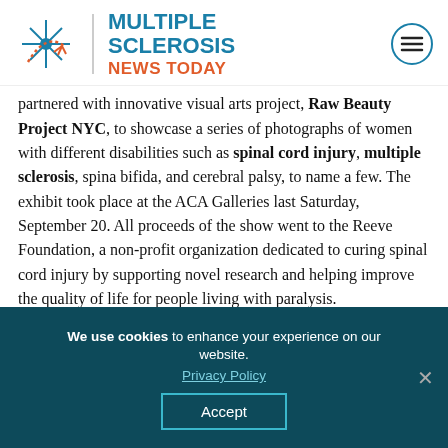Multiple Sclerosis News Today
partnered with innovative visual arts project, Raw Beauty Project NYC, to showcase a series of photographs of women with different disabilities such as spinal cord injury, multiple sclerosis, spina bifida, and cerebral palsy, to name a few. The exhibit took place at the ACA Galleries last Saturday, September 20. All proceeds of the show went to the Reeve Foundation, a non-profit organization dedicated to curing spinal cord injury by supporting novel research and helping improve the quality of life for people living with paralysis.
We use cookies to enhance your experience on our website.
Privacy Policy
Accept